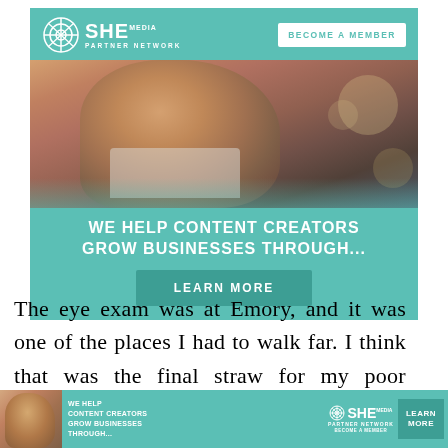[Figure (advertisement): SHE Media Partner Network advertisement banner. Teal header with SHE Media logo and 'Become a Member' button. Photo of a smiling woman with glasses and curly hair using a laptop in a cafe. Teal bottom section with bold white text 'WE HELP CONTENT CREATORS GROW BUSINESSES THROUGH...' and a dark teal 'LEARN MORE' button.]
The eye exam was at Emory, and it was one of the places I had to walk far. I think that was the final straw for my poor hurting knee.
[Figure (advertisement): SHE Media Partner Network small bottom bar advertisement. Shows woman with laptop, text 'WE HELP CONTENT CREATORS GROW BUSINESSES THROUGH...', SHE Media logo, and 'LEARN MORE' / 'BECOME A MEMBER' buttons.]